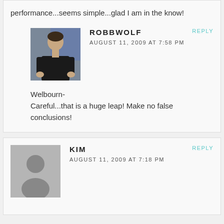performance...seems simple...glad I am in the know!
ROBBWOLF
AUGUST 11, 2009 AT 7:58 PM
REPLY
Welbourn-
Careful...that is a huge leap! Make no false conclusions!
KIM
AUGUST 11, 2009 AT 7:18 PM
REPLY